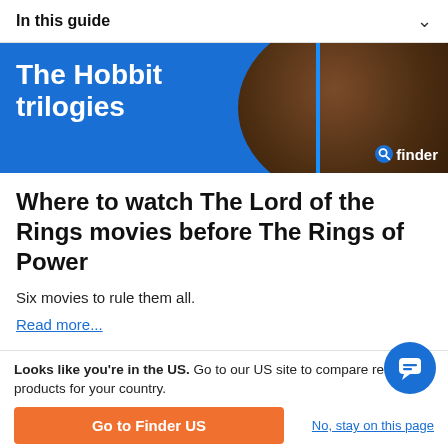In this guide
[Figure (illustration): Banner image with blue background, text 'The Hobbit trilogies' in white bold font on left, dark brown circular artistic background on right side, blue vertical divider line, and 'finder' logo in bottom right corner]
Where to watch The Lord of the Rings movies before The Rings of Power
Six movies to rule them all.
Read more...
by Mark Neilsen
Looks like you're in the US. Go to our US site to compare rele products for your country.
Go to Finder US
No, stay on this page